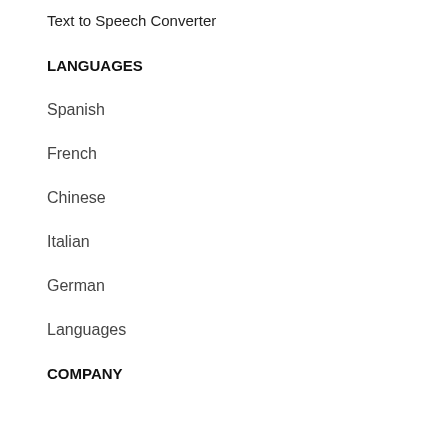Text to Speech Converter
LANGUAGES
Spanish
French
Chinese
Italian
German
Languages
COMPANY